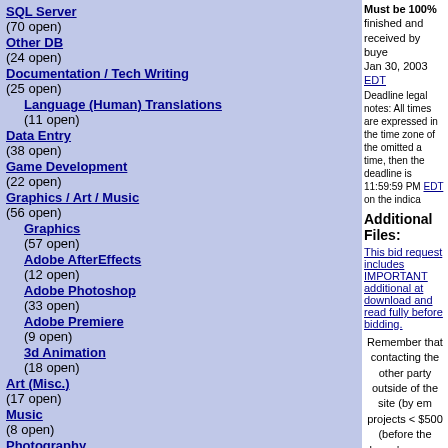SQL Server (70 open)
Other DB (24 open)
Documentation / Tech Writing (25 open)
Language (Human) Translations (11 open)
Data Entry (38 open)
Game Development (22 open)
Graphics / Art / Music (56 open)
Graphics (57 open)
Adobe AfterEffects (12 open)
Adobe Photoshop (33 open)
Adobe Premiere (9 open)
3d Animation (18 open)
Art (Misc.) (17 open)
Music (8 open)
Photography (5 open)
Must be 100% finished and received by buyer Jan 30, 2003 EDT
Deadline legal notes: All times are expressed in the time zone of the omitted a time, then the deadline is 11:59:59 PM EDT on the indica
Additional Files:
This bid request includes IMPORTANT additional at download and read fully before bidding.
Remember that contacting the other party outside of the site (by em projects < $500 (before the buyer's money is escrowed) is a violatio seller agreements. We monitor all site activity for such violatio transgressers on the spot, so we thank you in advance for your coop please help out the site and report it. Thanks fo
Bidding/Comments:
All monetary amounts on the site are in United S Rent a Coder is a closed auction, so coders can only see their own bids a posting made on their bid requests.
See all rejected bids (and all comm
| Name | Bid Amount | Date |
| --- | --- | --- |
| Obert Merchant (8 ratings) in Huntsville, Alabama United States Bid id: 478,772 | N/A | Jan 19, 2003 3:50:22 EDT |
Hi,
This really is an interesting bid request. What ki